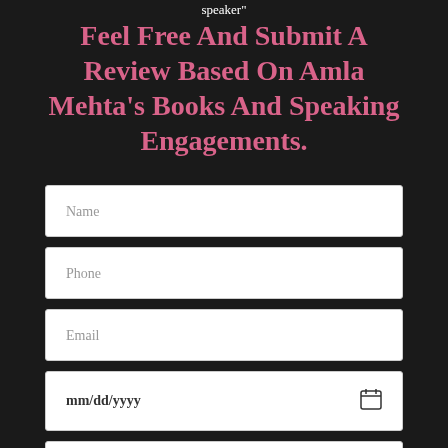speaker"
Feel Free And Submit A Review Based On Amla Mehta's Books And Speaking Engagements.
Name
Phone
Email
mm/dd/yyyy
Message